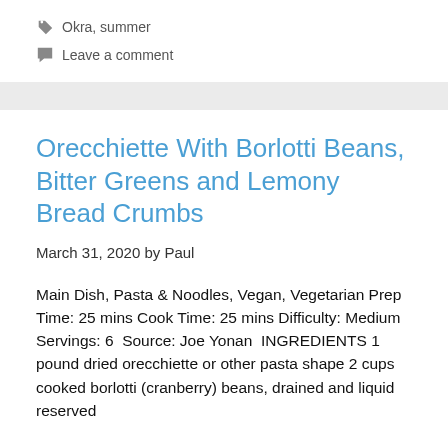Okra, summer
Leave a comment
Orecchiette With Borlotti Beans, Bitter Greens and Lemony Bread Crumbs
March 31, 2020 by Paul
Main Dish, Pasta & Noodles, Vegan, Vegetarian Prep Time: 25 mins Cook Time: 25 mins Difficulty: Medium Servings: 6  Source: Joe Yonan  INGREDIENTS 1 pound dried orecchiette or other pasta shape 2 cups cooked borlotti (cranberry) beans, drained and liquid reserved